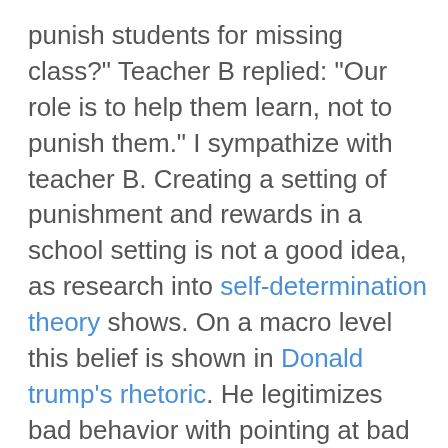punish students for missing class?" Teacher B replied: "Our role is to help them learn, not to punish them." I sympathize with teacher B. Creating a setting of punishment and rewards in a school setting is not a good idea, as research into self-determination theory shows. On a macro level this belief is shown in Donald trump's rhetoric. He legitimizes bad behavior with pointing at bad behavior of other parties. The belief that evil should be fought with evil, I think, harms the motivation of the other party, harms the relationship with the other party, and harms our own morality.